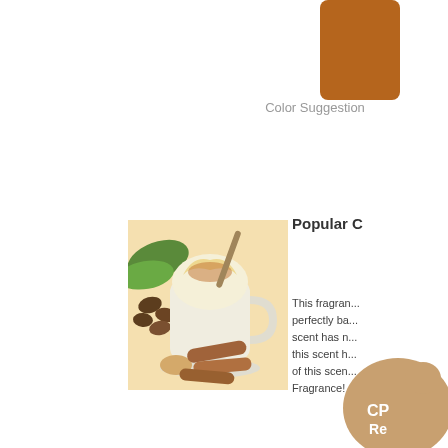brown,
[Figure (illustration): A brown color swatch rectangle with rounded top corners]
Color Suggestion
Popular C...
[Figure (photo): A cappuccino or latte in a white mug topped with whipped cream and cinnamon, surrounded by coffee beans, green coffee leaves, cinnamon sticks, and a cookie on a plate, on a warm beige/cream background]
This fragrance is perfectly balanced, this scent has never... this scent h... of this scen... Fragrance!
[Figure (logo): A tan/brown paw-print shaped badge with white text reading CP Re...]